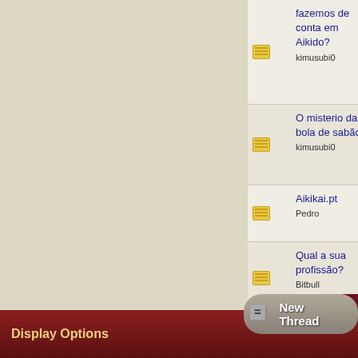|  |  | Topic | Replies | Views | Last Post |
| --- | --- | --- | --- | --- | --- |
| [icon] |  | fazemos de conta em Aikido?
kimusubi0 | 0 | 30,894 | 02-27-20
by k |
| [icon] |  | O misterio da bola de sabão
kimusubi0 | 0 | 32,309 | 01-23-20
by k |
| [icon] |  | Aikikai.pt
Pedro | 10 | 31,833 | 01-19-20
by k |
| [icon] |  | Qual a sua profissão?
Bitbull | 0 | 30,154 | 11-25-20 |
| [icon] | [?] | Tecnica correcta... ?
kimusubi0 | 9 | 30,476 | 09-22-20 |
| [icon] |  | Tentativa duma caracterização do Aikido?
kimusubi0 | 0 | 29,552 | 09-19-20
by k |
New Thread
Page 1 of
Display Options